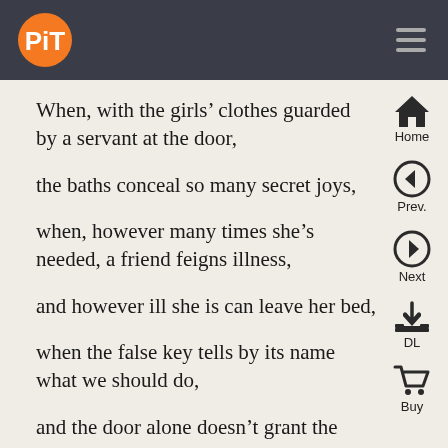PiT logo and navigation header
When, with the girls’ clothes guarded by a servant at the door,
the baths conceal so many secret joys,
when, however many times she’s needed, a friend feigns illness,
and however ill she is can leave her bed,
when the false key tells by its name what we should do,
and the door alone doesn’t grant the exits you seek?
And the jailor’s attention’s fuddled with much